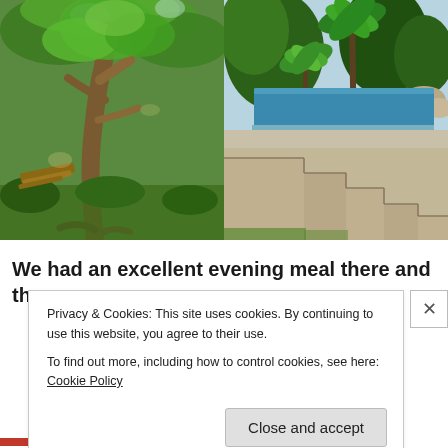[Figure (photo): Garden scene with a large tree, green foliage, and a wooden lounger in dappled sunlight]
[Figure (photo): Top: outdoor swimming pool with blue water, surrounded by tall yucca/palm plants and rocks. Bottom: close-up of stepped concrete/render wall structure next to lawn]
We had an excellent evening meal there and the
Privacy & Cookies: This site uses cookies. By continuing to use this website, you agree to their use.
To find out more, including how to control cookies, see here: Cookie Policy
Close and accept